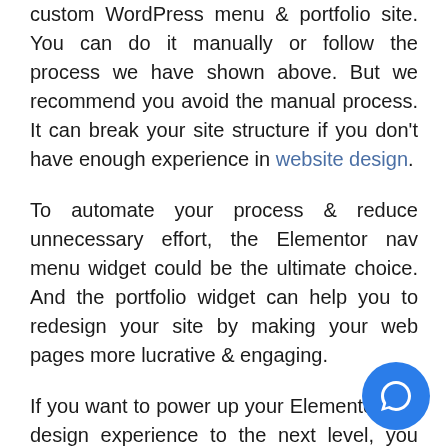custom WordPress menu & portfolio site. You can do it manually or follow the process we have shown above. But we recommend you avoid the manual process. It can break your site structure if you don't have enough experience in website design.
To automate your process & reduce unnecessary effort, the Elementor nav menu widget could be the ultimate choice. And the portfolio widget can help you to redesign your site by making your web pages more lucrative & engaging.
If you want to power up your Elementor site design experience to the next level, you utilize Happy Addons. It's a collection of